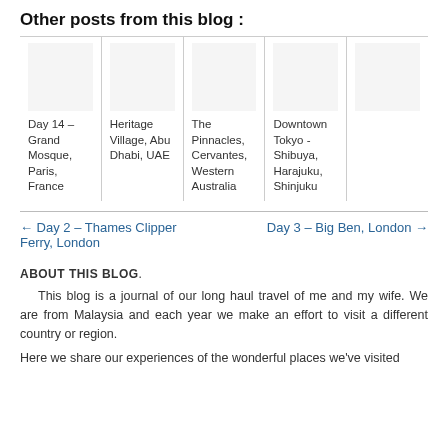Other posts from this blog :
[Figure (other): Grid of 4 blog post thumbnails with placeholder images and text captions: Day 14 – Grand Mosque, Paris, France; Heritage Village, Abu Dhabi, UAE; The Pinnacles, Cervantes, Western Australia; Downtown Tokyo - Shibuya, Harajuku, Shinjuku]
← Day 2 – Thames Clipper Ferry, London
Day 3 – Big Ben, London →
ABOUT THIS BLOG.
This blog is a journal of our long haul travel of me and my wife. We are from Malaysia and each year we make an effort to visit a different country or region.
Here we share our experiences of the wonderful places we've visited